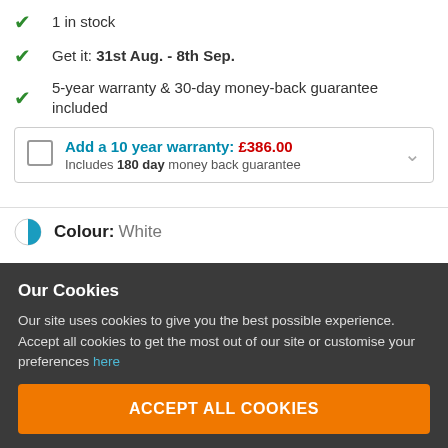1 in stock
Get it: 31st Aug. - 8th Sep.
5-year warranty & 30-day money-back guarantee included
Add a 10 year warranty: £386.00 Includes 180 day money back guarantee
Colour: White
Our Cookies
Our site uses cookies to give you the best possible experience. Accept all cookies to get the most out of our site or customise your preferences here
ACCEPT ALL COOKIES